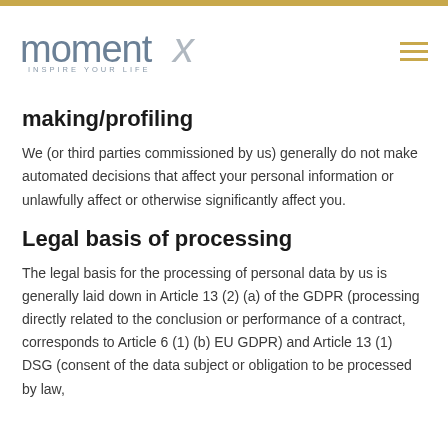momentX INSPIRE YOUR LIFE
making/profiling
We (or third parties commissioned by us) generally do not make automated decisions that affect your personal information or unlawfully affect or otherwise significantly affect you.
Legal basis of processing
The legal basis for the processing of personal data by us is generally laid down in Article 13 (2) (a) of the GDPR (processing directly related to the conclusion or performance of a contract, corresponds to Article 6 (1) (b) EU GDPR) and Article 13 (1) DSG (consent of the data subject or obligation to be processed by law,